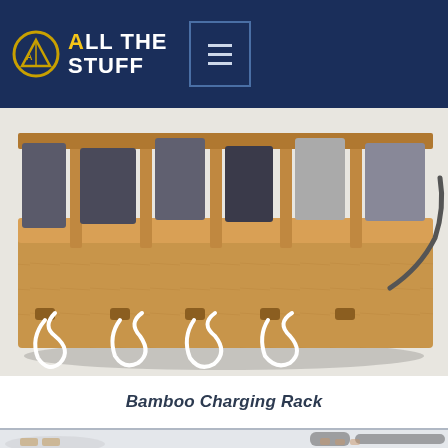ALL THE STUFF
[Figure (photo): Bamboo multi-device charging rack with multiple white USB cables hanging from slots, various phones/tablets inserted in compartments, on a white surface]
Bamboo Charging Rack
[Figure (photo): Hand gripping a dark ergonomic knife handle with a plate of sliced bread/crackers visible in the lower left corner]